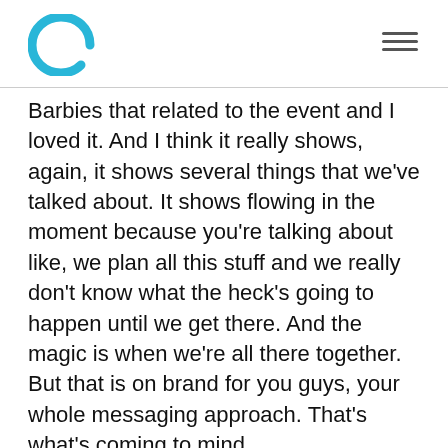Barbies that related to the event and I loved it. And I think it really shows, again, it shows several things that we've talked about. It shows flowing in the moment because you're talking about like, we plan all this stuff and we really don't know what the heck's going to happen until we get there. And the magic is when we're all there together. But that is on brand for you guys, your whole messaging approach. That's what's coming to mind.
I don't know if that was juicy enough, but…